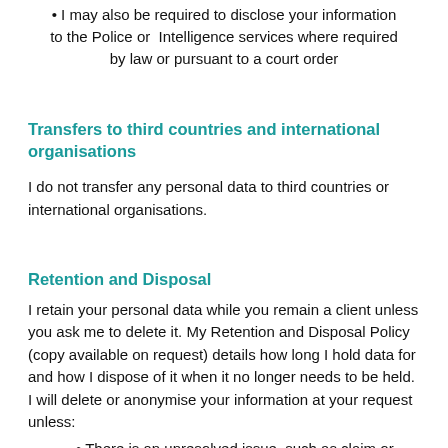• I may also be required to disclose your information to the Police or  Intelligence services where required by law or pursuant to a court order
Transfers to third countries and international organisations
I do not transfer any personal data to third countries or international organisations.
Retention and Disposal
I retain your personal data while you remain a client unless you ask me to delete it. My Retention and Disposal Policy (copy available on request) details how long I hold data for and how I dispose of it when it no longer needs to be held. I will delete or anonymise your information at your request unless:
• There is an unresolved issue, such as claim or dispute;